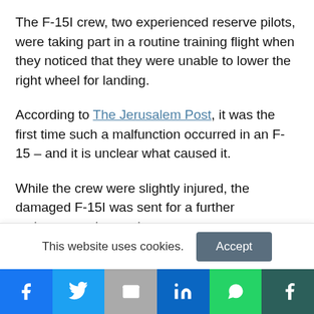The F-15I crew, two experienced reserve pilots, were taking part in a routine training flight when they noticed that they were unable to lower the right wheel for landing.
According to The Jerusalem Post, it was the first time such a malfunction occurred in an F-15 – and it is unclear what caused it.
While the crew were slightly injured, the damaged F-15I was sent for a further maintenance inspection.
This website uses cookies.
[Figure (infographic): Social sharing bar with icons for Facebook, Twitter, email (M), LinkedIn, WhatsApp, and Tumblr on colored backgrounds]